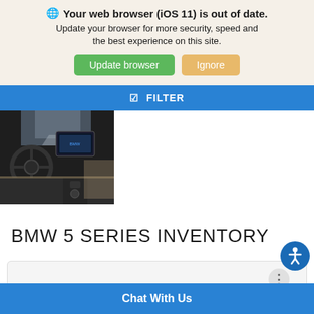Your web browser (iOS 11) is out of date. Update your browser for more security, speed and the best experience on this site.
Update browser
Ignore
FILTER
[Figure (photo): BMW car interior dashboard view showing steering wheel, infotainment screen, and center console]
BMW 5 SERIES INVENTORY
[Figure (screenshot): Card area with three dots menu icon]
Chat With Us